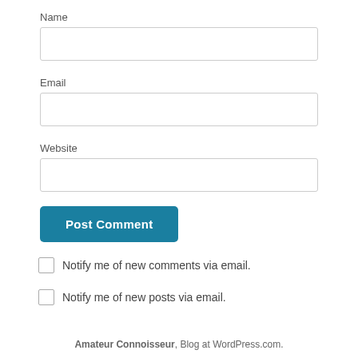Name
[Figure (screenshot): Empty text input field for Name]
Email
[Figure (screenshot): Empty text input field for Email]
Website
[Figure (screenshot): Empty text input field for Website]
[Figure (screenshot): Post Comment button in teal/blue color]
Notify me of new comments via email.
Notify me of new posts via email.
Amateur Connoisseur, Blog at WordPress.com.